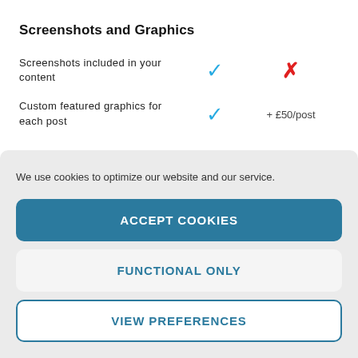Screenshots and Graphics
Screenshots included in your content
Custom featured graphics for each post
We use cookies to optimize our website and our service.
ACCEPT COOKIES
FUNCTIONAL ONLY
VIEW PREFERENCES